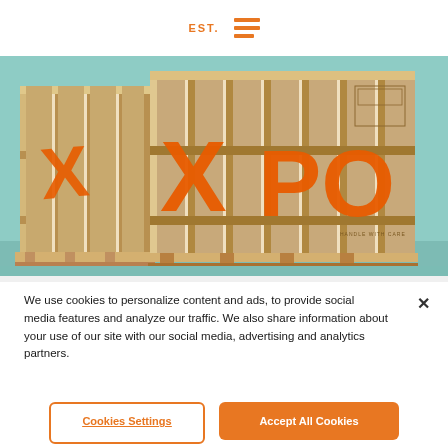EST.
[Figure (photo): Wooden shipping crates with orange XPO logo lettering on a teal/mint background, viewed at an angle showing multiple crates on pallets]
We use cookies to personalize content and ads, to provide social media features and analyze our traffic. We also share information about your use of our site with our social media, advertising and analytics partners.
Cookies Settings
Accept All Cookies